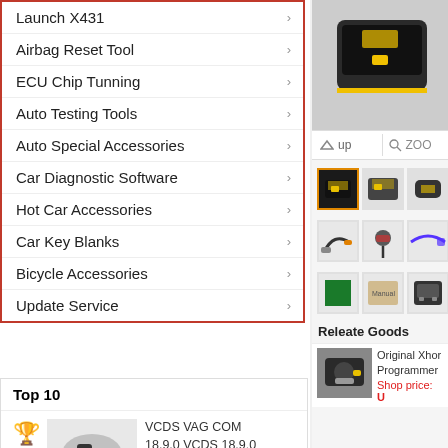Launch X431 >
Airbag Reset Tool >
ECU Chip Tunning >
Auto Testing Tools >
Auto Special Accessories >
Car Diagnostic Software >
Hot Car Accessories >
Car Key Blanks >
Bicycle Accessories >
Update Service >
Top 10
VCDS VAG COM 18.9.0 VCDS 18.9.0 Original Plan 18.9.0 VC...
USD$48.99
VCDS VAG COM 17.8.0 VCDS 17.8.0 HEX+CAN USB
[Figure (screenshot): Product main image of an automotive diagnostic device (black/yellow)]
[Figure (photo): Product thumbnails grid showing diagnostic device and accessories]
Releate Goods
Original Xhor Programmer
Shop price: U